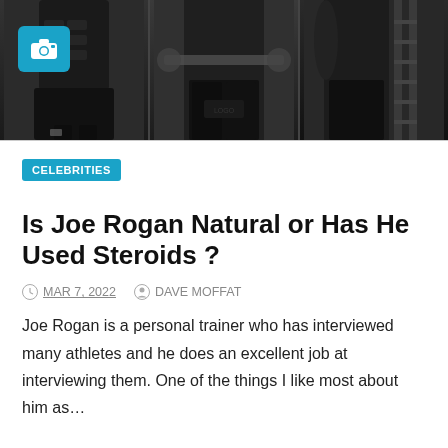[Figure (photo): A triptych of three gym photos showing a muscular person from the torso down, in a gym setting with weights and equipment visible. The first panel has a blue camera icon overlay in the top-left corner.]
CELEBRITIES
Is Joe Rogan Natural or Has He Used Steroids ?
MAR 7, 2022   DAVE MOFFAT
Joe Rogan is a personal trainer who has interviewed many athletes and he does an excellent job at interviewing them. One of the things I like most about him as…